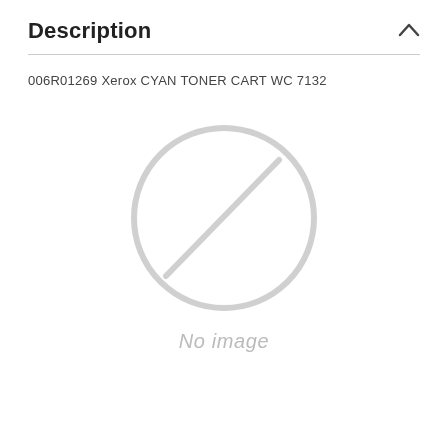Description
006R01269 Xerox CYAN TONER CART WC 7132
[Figure (illustration): No image placeholder icon — a circle with a diagonal slash through it, light grey color, with text 'No image' below in italic grey.]